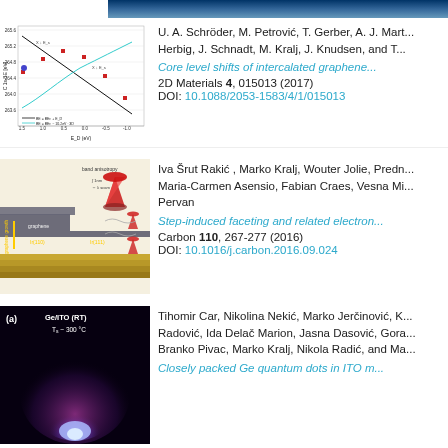[Figure (continuous-plot): Scientific plot showing C 1s binding energy vs E_D (eV), with data points and two fitted lines (black linear, cyan curved). Axes labeled 'C 1s BE [eV]' (y) and 'E_D (eV)' (x). Annotations include X labels and legend for BE equations.]
U. A. Schröder, M. Petrović, T. Gerber, A. J. Mart... Herbig, J. Schnadt, M. Kralj, J. Knudsen, and T...
Core level shifts of intercalated graphene...
2D Materials 4, 015013 (2017)
DOI: 10.1088/2053-1583/4/1/015013
[Figure (illustration): Schematic illustration of graphene growth on stepped surface showing band anisotropy, with red cone (Dirac cone) diagram and layered substrate structure with arrows indicating graphene growth direction.]
Iva Šrut Rakić , Marko Kralj, Wouter Jolie, Predn... Maria-Carmen Asensio, Fabian Craes, Vesna Mi... Pervan
Step-induced faceting and related electron...
Carbon 110, 267-277 (2016)
DOI: 10.1016/j.carbon.2016.09.024
[Figure (photo): RHEED or diffraction pattern image labeled 'Ge/ITO (RT)' with T_s ~ 300°C annotation. Dark background with glowing blue/purple diffraction spots visible at bottom.]
Tihomir Car, Nikolina Nekić, Marko Jerčinović, K... Radović, Ida Delač Marion, Jasna Dasović, Gora... Branko Pivac, Marko Kralj, Nikola Radić, and Ma...
Closely packed Ge quantum dots in ITO m...